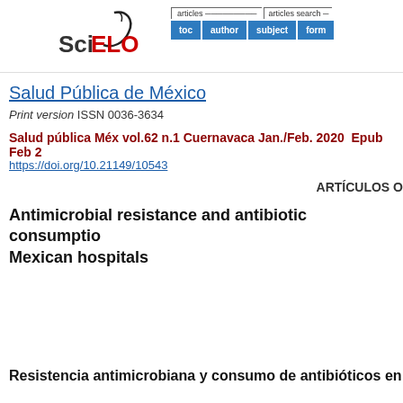[Figure (logo): SciELO logo with stylized swoosh and red/black text]
[Figure (screenshot): Navigation bar with articles and articles search tabs: toc, author, subject, form buttons]
Salud Pública de México
Print version ISSN 0036-3634
Salud pública Méx vol.62 n.1 Cuernavaca Jan./Feb. 2020  Epub Feb 2
https://doi.org/10.21149/10543
ARTÍCULOS O
Antimicrobial resistance and antibiotic consumption in Mexican hospitals
Resistencia antimicrobiana y consumo de antibióticos en